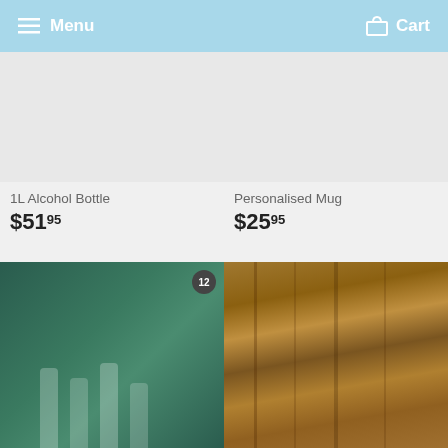Menu   Cart
1L Alcohol Bottle
$51.95
Personalised Mug
$25.95
[Figure (photo): Bottles of alcohol on a table with tropical background, badge showing 12]
[Figure (photo): Close-up of rustic wood or metal texture in brown tones]